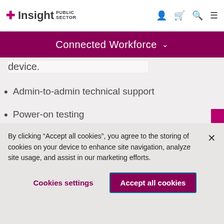Insight Public Sector
Connected Workforce
device.
Admin-to-admin technical support
Power-on testing
Network connectivity
Cosmetic device repairs
By clicking “Accept all cookies”, you agree to the storing of cookies on your device to enhance site navigation, analyze site usage, and assist in our marketing efforts.
Cookies settings
Accept all cookies